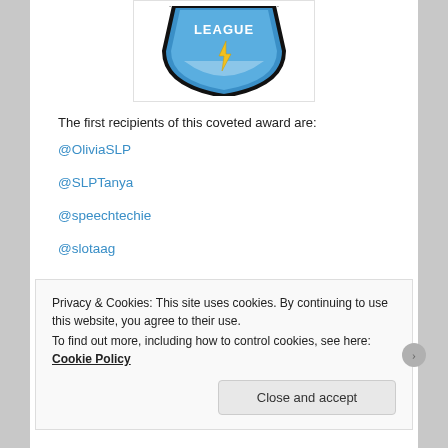[Figure (logo): Sports league shield logo — blue shield with 'LEAGUE' text and lightning bolt, black outline, partially cropped at top]
The first recipients of this coveted award are:
@OliviaSLP
@SLPTanya
@speechtechie
@slotaag
Privacy & Cookies: This site uses cookies. By continuing to use this website, you agree to their use.
To find out more, including how to control cookies, see here: Cookie Policy
Close and accept